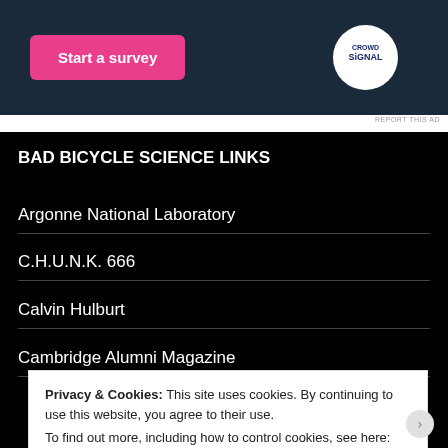[Figure (screenshot): Advertisement banner with pink 'Start a survey' button and CrowdSignal logo on dark background]
BAD BICYCLE SCIENCE LINKS
Argonne National Laboratory
C.H.U.N.K. 666
Calvin Hulburt
Cambridge Alumni Magazine
Privacy & Cookies: This site uses cookies. By continuing to use this website, you agree to their use. To find out more, including how to control cookies, see here: Cookie Policy
Close and accept